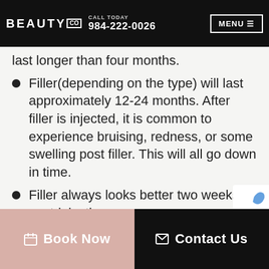BEAUTY CO | CALL TODAY 984-222-0026 | MENU
with the frequency recommended, the duration of each treatment results may last longer than four months.
Filler(depending on the type) will last approximately 12-24 months. After filler is injected, it is common to experience bruising, redness, or some swelling post filler. This will all go down in time.
Filler always looks better two weeks post-injection.
On the day of your injection do not participate in strenuous exercise, receive a massage.
Book Now | Contact Us